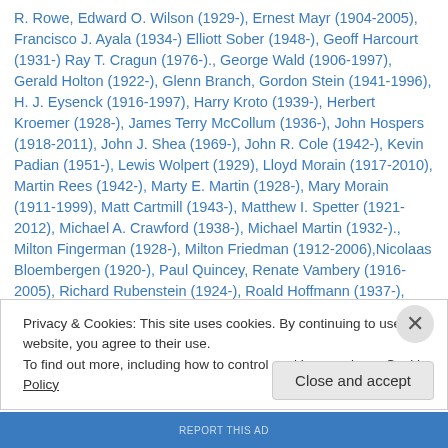R. Rowe, Edward O. Wilson (1929-), Ernest Mayr (1904-2005), Francisco J. Ayala (1934-) Elliott Sober (1948-), Geoff Harcourt (1931-) Ray T. Cragun (1976-)., George Wald (1906-1997), Gerald Holton (1922-), Glenn Branch, Gordon Stein (1941-1996), H. J. Eysenck (1916-1997), Harry Kroto (1939-), Herbert Kroemer (1928-), James Terry McCollum (1936-), John Hospers (1918-2011), John J. Shea (1969-), John R. Cole (1942-), Kevin Padian (1951-), Lewis Wolpert (1929), Lloyd Morain (1917-2010), Martin Rees (1942-), Marty E. Martin (1928-), Mary Morain (1911-1999), Matt Cartmill (1943-), Matthew I. Spetter (1921-2012), Michael A. Crawford (1938-), Michael Martin (1932-)., Milton Fingerman (1928-), Milton Friedman (1912-2006),Nicolaas Bloembergen (1920-), Paul Quincey, Renate Vambery (1916-2005), Richard Rubenstein (1924-), Roald Hoffmann (1937-), Robert L. Erdmann (1929-2006), Robert Shapiro (1935-2011), Sol
Privacy & Cookies: This site uses cookies. By continuing to use this website, you agree to their use. To find out more, including how to control cookies, see here: Cookie Policy